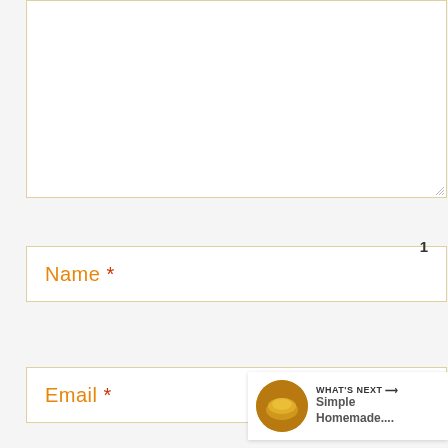[Figure (screenshot): A web form textarea (empty comment box) with golden/tan border on white background, showing a resize handle in the bottom-right corner.]
Name *
Email *
[Figure (infographic): Green circular heart/like button with count '1' below it, and a white circular share button with a share icon.]
[Figure (infographic): What's Next panel showing a circular food thumbnail and text 'WHAT'S NEXT → Simple Homemade....']